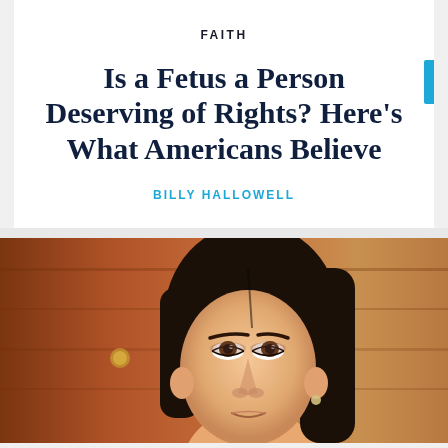FAITH
Is a Fetus a Person Deserving of Rights? Here’s What Americans Believe
BILLY HALLOWELL
[Figure (photo): Close-up photo of a woman with long dark hair, looking upward, against a warm brown wooden background]